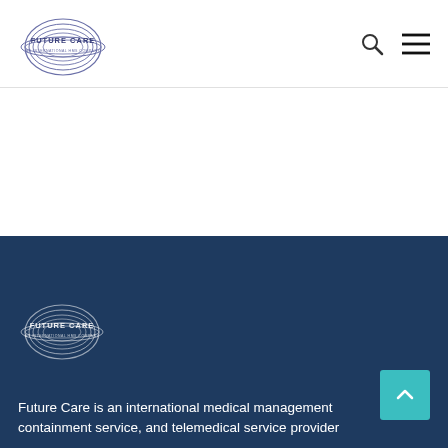Future Care - An International HMS Company
[Figure (logo): Future Care logo in header - circular ellipses design with FUTURE CARE text]
[Figure (logo): Future Care logo in footer - circular ellipses design with FUTURE CARE text, white version]
Future Care is an international medical management containment service, and telemedical service provider